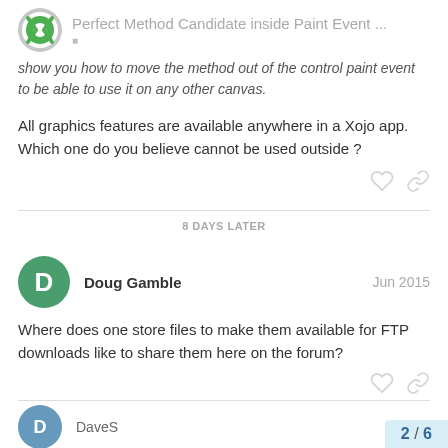Perfect Method Candidate inside Paint Event ...
show you how to move the method out of the control paint event to be able to use it on any other canvas.
All graphics features are available anywhere in a Xojo app. Which one do you believe cannot be used outside ?
8 DAYS LATER
Doug Gamble  Jun 2015
Where does one store files to make them available for FTP downloads like to share them here on the forum?
DaveS